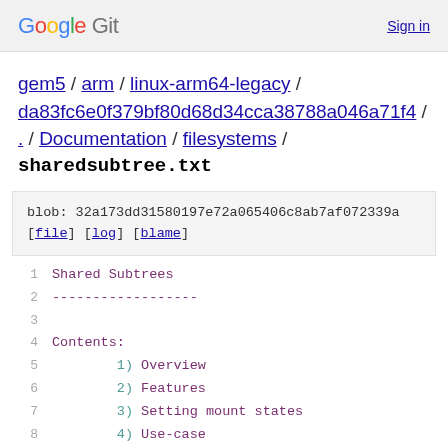Google Git  Sign in
gem5 / arm / linux-arm64-legacy / da83fc6e0f379bf80d68d34cca38788a046a71f4 / . / Documentation / filesystems /
sharedsubtree.txt
blob: 32a173dd31580197e72a065406c8ab7af072339a [file] [log] [blame]
1   Shared Subtrees
2   ------------------
3
4   Contents:
5       1) Overview
6       2) Features
7       3) Setting mount states
8       4) Use-case